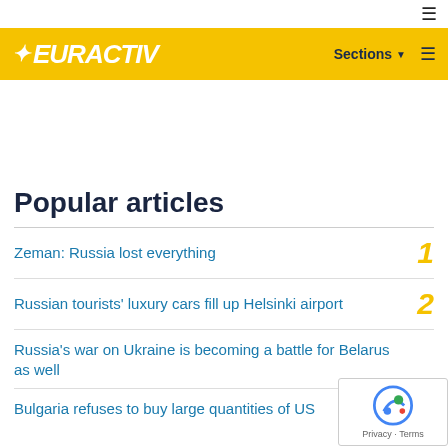EURACTIV — Sections
Popular articles
Zeman: Russia lost everything — 1
Russian tourists' luxury cars fill up Helsinki airport — 2
Russia's war on Ukraine is becoming a battle for Belarus as well — 3
Bulgaria refuses to buy large quantities of US — 4